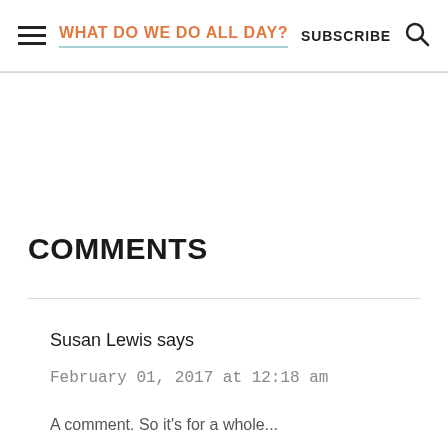WHAT DO WE DO ALL DAY? | SUBSCRIBE
COMMENTS
Susan Lewis says
February 01, 2017 at 12:18 am